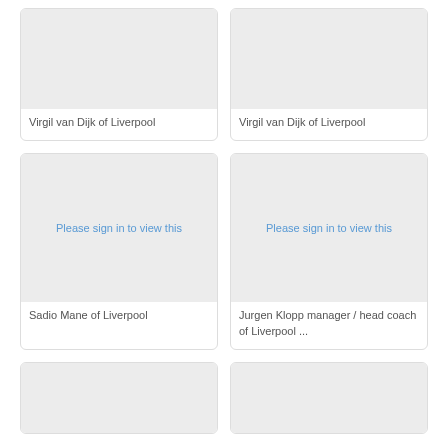[Figure (photo): Placeholder image card for Virgil van Dijk of Liverpool (top left)]
Virgil van Dijk of Liverpool
[Figure (photo): Placeholder image card for Virgil van Dijk of Liverpool (top right)]
Virgil van Dijk of Liverpool
[Figure (photo): Restricted image card for Sadio Mane of Liverpool with sign-in prompt]
Sadio Mane of Liverpool
[Figure (photo): Restricted image card for Jurgen Klopp manager / head coach of Liverpool with sign-in prompt]
Jurgen Klopp manager / head coach of Liverpool ...
[Figure (photo): Placeholder image card bottom left (partial)]
[Figure (photo): Placeholder image card bottom right (partial)]